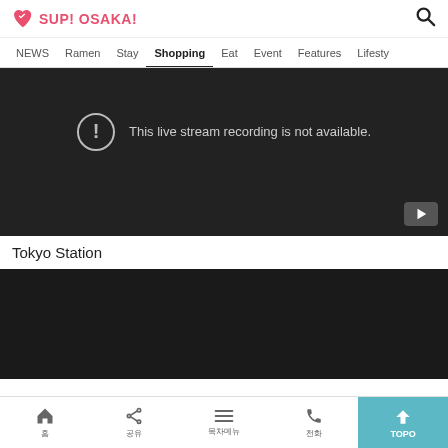SUP! OSAKA!
NEWS  Ramen  Stay  Shopping  Eat  Event  Features  Lifestyle
[Figure (screenshot): Video player showing error: This live stream recording is not available.]
Tokyo Station
[Figure (screenshot): Second dark video player block]
Home  Share  Menu  Phone  TOP